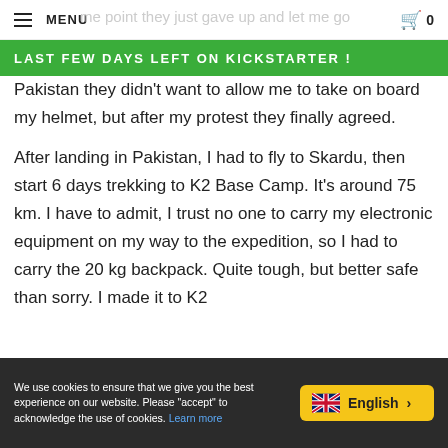MENU  [faded: me point they just gave up and let me go]  🛒 0
LAST FEW DAYS LEFT ON KICKSTARTER !
Pakistan they didn't want to allow me to take on board my helmet, but after my protest they finally agreed.
After landing in Pakistan, I had to fly to Skardu, then start 6 days trekking to K2 Base Camp. It's around 75 km. I have to admit, I trust no one to carry my electronic equipment on my way to the expedition, so I had to carry the 20 kg backpack. Quite tough, but better safe than sorry. I made it to K2
We use cookies to ensure that we give you the best experience on our website. Please "accept" to acknowledge the use of cookies. Learn more   English >